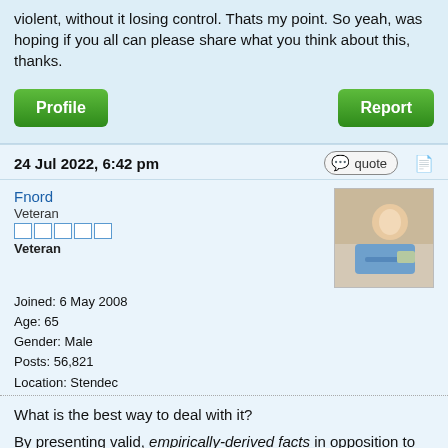violent, without it losing control. Thats my point. So yeah, was hoping if you all can please share what you think about this, thanks.
Profile
Report
24 Jul 2022, 6:42 pm
quote
Fnord
Veteran
Veteran
Joined: 6 May 2008
Age: 65
Gender: Male
Posts: 56,821
Location: Stendec
What is the best way to deal with it?
By presenting valid, empirically-derived facts in opposition to falsehood and fallacy, and using objective reason in opposition to subjective belief and opinion.